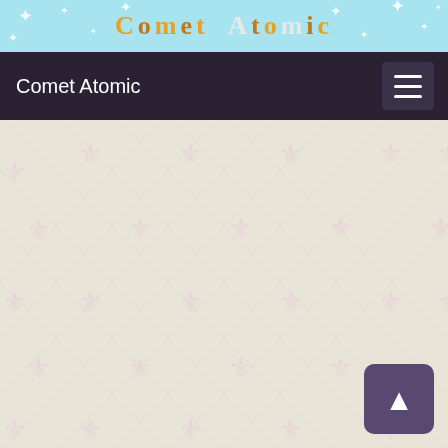[Figure (screenshot): Top banner with light blue background, sparkle stars, and 'Comet Atomic' logo text in gold/cream colored letters]
Comet Atomic
[Figure (illustration): Beige/cream background with repeating diagonal grid pattern and pink fleur-de-lis symbols, with a purple 'back to top' button in the bottom right corner]